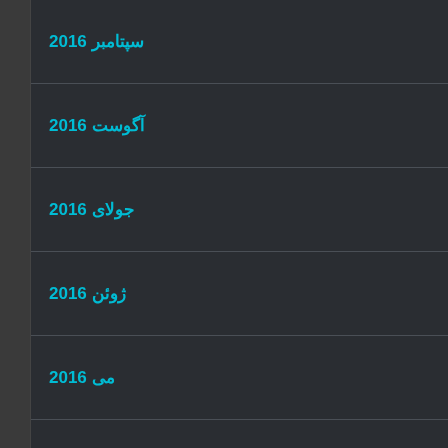سپتامبر 2016
آگوست 2016
جولای 2016
ژوئن 2016
می 2016
آوریل 2016
مارس 2016
فوریه 2016
ژانویه 2016
دسته ها
آر